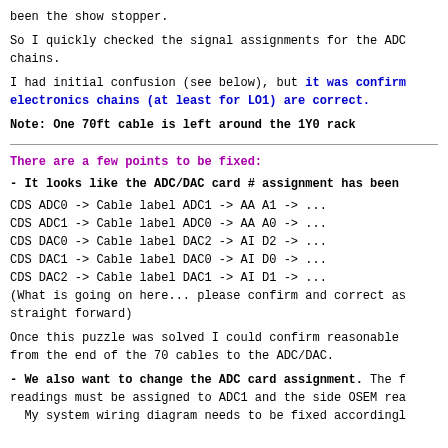been the show stopper.
So I quickly checked the signal assignments for the ADC chains.
I had initial confusion (see below), but it was confirmed the electronics chains (at least for LO1) are correct.
Note: One 70ft cable is left around the 1Y0 rack
There are a few points to be fixed:
- It looks like the ADC/DAC card # assignment has been
CDS ADC0 -> Cable label ADC1 -> AA A1 -> ...
CDS ADC1 -> Cable label ADC0 -> AA A0 -> ...
CDS DAC0 -> Cable label DAC2 -> AI D2 -> ...
CDS DAC1 -> Cable label DAC0 -> AI D0 -> ...
CDS DAC2 -> Cable label DAC1 -> AI D1 -> ...
(What is going on here... please confirm and correct as straight forward)
Once this puzzle was solved I could confirm reasonable from the end of the 70 cables to the ADC/DAC.
- We also want to change the ADC card assignment. The f readings must be assigned to ADC1 and the side OSEM rea My system wiring diagram needs to be fixed accordingl